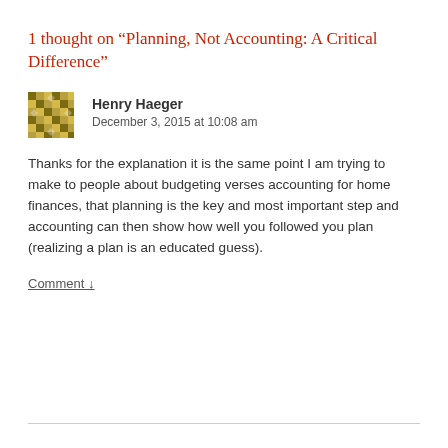1 thought on “Planning, Not Accounting: A Critical Difference”
Henry Haeger
December 3, 2015 at 10:08 am
Thanks for the explanation it is the same point I am trying to make to people about budgeting verses accounting for home finances, that planning is the key and most important step and accounting can then show how well you followed you plan (realizing a plan is an educated guess).
Comment ↓